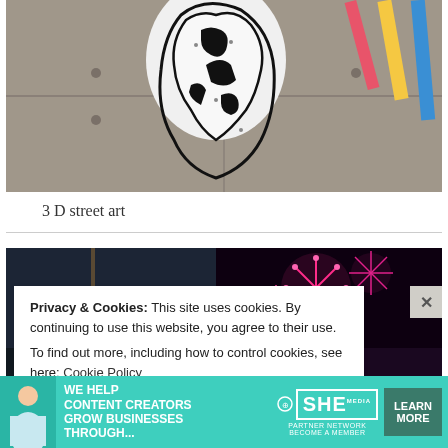[Figure (photo): 3D street art mural on concrete wall showing a large black and white figure, with colorful lines (pink, yellow, blue) in background]
3 D street art
[Figure (photo): Two photos side-by-side: left is a dark night scene, right shows pink/magenta fireworks over water]
Privacy & Cookies: This site uses cookies. By continuing to use this website, you agree to their use.
To find out more, including how to control cookies, see here: Cookie Policy
[Figure (infographic): Advertisement banner: WE HELP CONTENT CREATORS GROW BUSINESSES THROUGH... SHE PARTNER NETWORK BECOME A MEMBER — LEARN MORE]